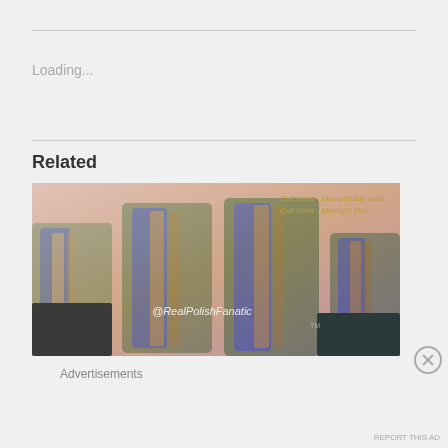Loading...
Related
[Figure (photo): Close-up photo of fingernails painted with Cult Nails - Masquerade over Cult Nails - Midnight Mist nail polish. The nails show a multichrome holographic effect with green, purple, and gold shimmer. Watermark reads @RealPolishFanatic. Nail polish bottles visible at bottom.]
Advertisements
REPORT THIS AD